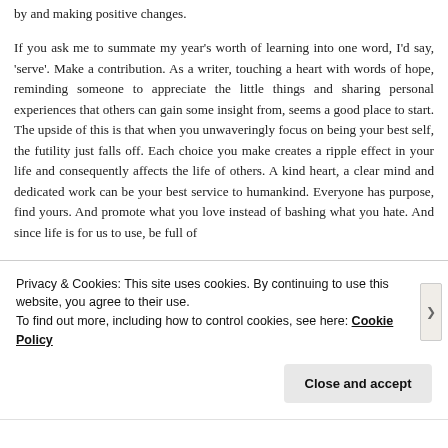by and making positive changes.
If you ask me to summate my year's worth of learning into one word, I'd say, 'serve'. Make a contribution. As a writer, touching a heart with words of hope, reminding someone to appreciate the little things and sharing personal experiences that others can gain some insight from, seems a good place to start. The upside of this is that when you unwaveringly focus on being your best self, the futility just falls off. Each choice you make creates a ripple effect in your life and consequently affects the life of others. A kind heart, a clear mind and dedicated work can be your best service to humankind. Everyone has purpose, find yours. And promote what you love instead of bashing what you hate. And since life is for us to use, be full of
Privacy & Cookies: This site uses cookies. By continuing to use this website, you agree to their use.
To find out more, including how to control cookies, see here: Cookie Policy